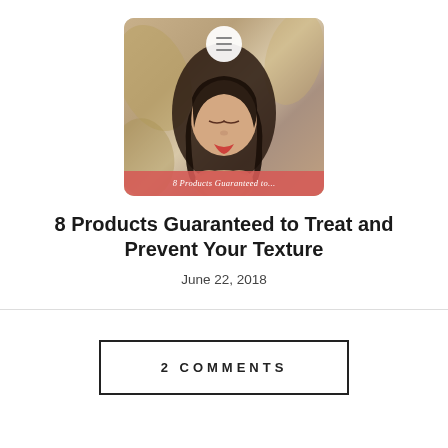[Figure (photo): A young woman looking down with hands clasped, in front of a floral/leaf background. A circular menu icon appears at the top center. A red banner at the bottom reads '8 Products Guaranteed to...']
8 Products Guaranteed to Treat and Prevent Your Texture
June 22, 2018
2 COMMENTS